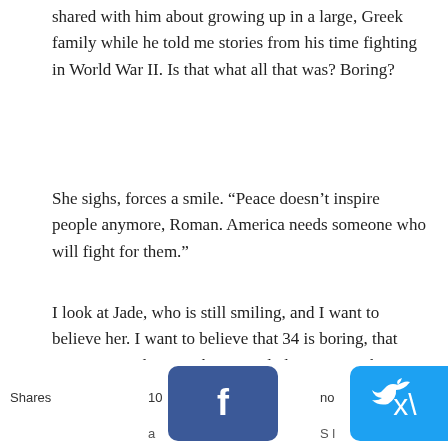shared with him about growing up in a large, Greek family while he told me stories from his time fighting in World War II. Is that what all that was? Boring?
She sighs, forces a smile. “Peace doesn’t inspire people anymore, Roman. America needs someone who will fight for them.”
I look at Jade, who is still smiling, and I want to believe her. I want to believe that 34 is boring, that America needs more than a card player, more than a war hero. I want to believe her, but her smile doesn’t reach her eyes.
xxx
[Figure (screenshot): Social sharing bar with Facebook, Twitter, Pinterest, Mail, and Crown icons, with Shares label and partial text]